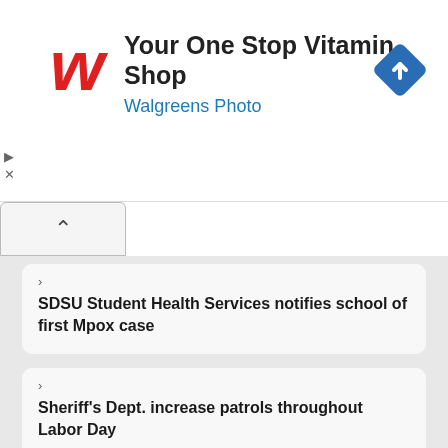[Figure (logo): Walgreens advertisement banner with W logo, text 'Your One Stop Vitamin Shop' and 'Walgreens Photo', and a blue diamond navigation icon]
SDSU Student Health Services notifies school of first Mpox case
Sheriff's Dept. increase patrols throughout Labor Day
CA State Parks urges the public to take precautions during heat wave